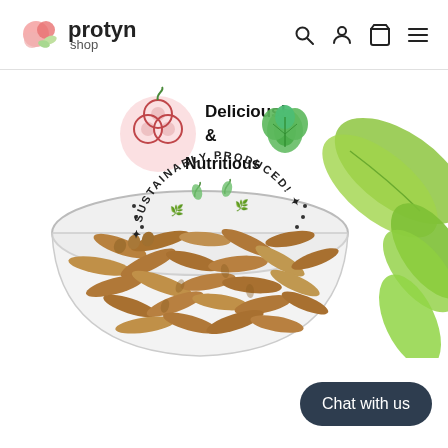protyn shop
[Figure (illustration): Protyn shop logo with pink croissant/berry icon and bold text 'protyn' with 'shop' subtitle, plus navigation icons: search, account, cart, menu]
[Figure (infographic): Circular badge with illustrated berries icon and text 'Delicious! & Nutritious' with green leaf icon, and curved text 'SUSTAINABLY PRODUCED!' with leaf icons]
[Figure (photo): Clear plastic container filled with dried mealworms/larvae insects, with green tropical leaves in the background]
Chat with us